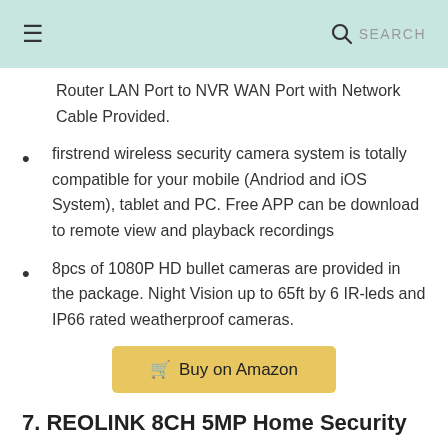☰   🔍 SEARCH
Router LAN Port to NVR WAN Port with Network Cable Provided.
firstrend wireless security camera system is totally compatible for your mobile (Andriod and iOS System), tablet and PC. Free APP can be download to remote view and playback recordings
8pcs of 1080P HD bullet cameras are provided in the package. Night Vision up to 65ft by 6 IR-leds and IP66 rated weatherproof cameras.
Buy on Amazon
7. REOLINK 8CH 5MP Home Security